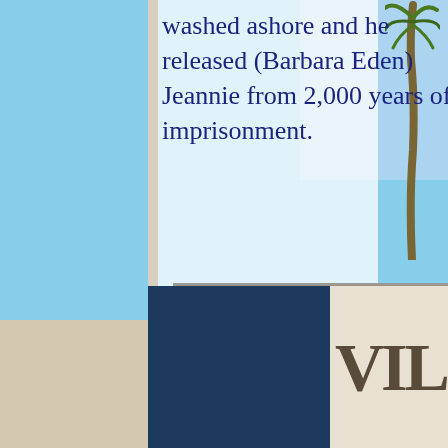washed ashore and he released (Barbara Eden) Jeannie from 2,000 years of imprisonment.
[Figure (photo): Group photo of approximately 14 people standing and crouching in front of a large rocky cliff on a sandy beach.]
[Figure (photo): Partial view of a woman leaning on something, visible on the right side of the page.]
[Figure (other): Red double back-arrow navigation icon (<<) and a blue circular up-arrow button.]